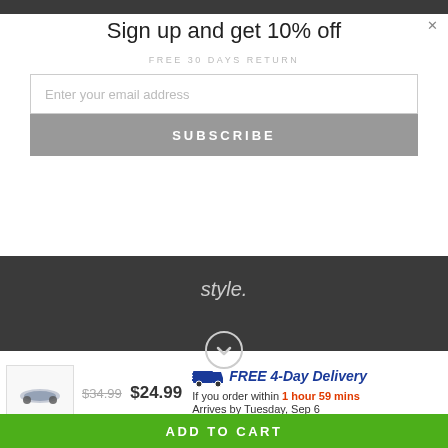Sign up and get 10% off
FREE 30 DAYS RETURN
Enter your email address
SUBSCRIBE
style.
[Figure (screenshot): Product thumbnail image of a small accessory item]
$34.99 $24.99
FREE 4-Day Delivery
If you order within 1 hour 59 mins
Arrives by Tuesday, Sep 6
- 1 + — OR —
ADD TO CART